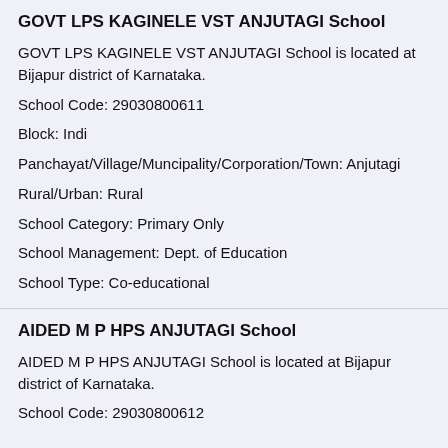GOVT LPS KAGINELE VST ANJUTAGI School
GOVT LPS KAGINELE VST ANJUTAGI School is located at Bijapur district of Karnataka.
School Code: 29030800611
Block: Indi
Panchayat/Village/Muncipality/Corporation/Town: Anjutagi
Rural/Urban: Rural
School Category: Primary Only
School Management: Dept. of Education
School Type: Co-educational
AIDED M P HPS ANJUTAGI School
AIDED M P HPS ANJUTAGI School is located at Bijapur district of Karnataka.
School Code: 29030800612